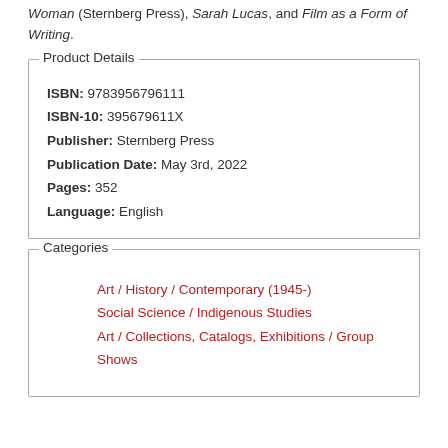Woman (Sternberg Press), Sarah Lucas, and Film as a Form of Writing.
| ISBN: | 9783956796111 |
| ISBN-10: | 395679611X |
| Publisher: | Sternberg Press |
| Publication Date: | May 3rd, 2022 |
| Pages: | 352 |
| Language: | English |
Art / History / Contemporary (1945-)
Social Science / Indigenous Studies
Art / Collections, Catalogs, Exhibitions / Group Shows